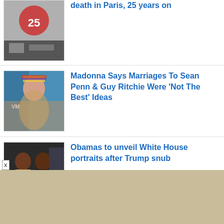[Figure (photo): Partial headline about death in Paris, 25 years on with memorial photo thumbnail]
death in Paris, 25 years on
[Figure (photo): Madonna at an event wearing colorful headwrap]
Madonna Says Marriages To Sean Penn & Guy Ritchie Were 'Not The Best' Ideas
[Figure (photo): Barack and Michelle Obama at formal event]
Obamas to unveil White House portraits after Trump snub
[Figure (photo): Sigourney Weaver partial thumbnail]
Sigourney Weaver has no plans to